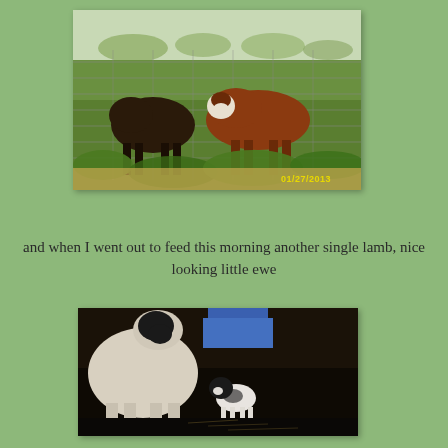[Figure (photo): Photograph of cattle (cows) behind a wire fence in a green pasture, dated 01/27/2013]
and when I went out to feed this morning another single lamb, nice looking little ewe
[Figure (photo): Photograph of a ewe with a newborn single lamb (black and white coloring) standing beside her]